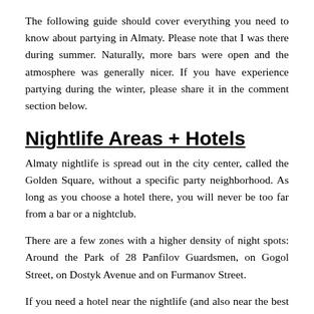The following guide should cover everything you need to know about partying in Almaty. Please note that I was there during summer. Naturally, more bars were open and the atmosphere was generally nicer. If you have experience partying during the winter, please share it in the comment section below.
Nightlife Areas + Hotels
Almaty nightlife is spread out in the city center, called the Golden Square, without a specific party neighborhood. As long as you choose a hotel there, you will never be too far from a bar or a nightclub.
There are a few zones with a higher density of night spots: Around the Park of 28 Panfilov Guardsmen, on Gogol Street, on Dostyk Avenue and on Furmanov Street.
If you need a hotel near the nightlife (and also near the best tourist attractions and near a metro station), I would